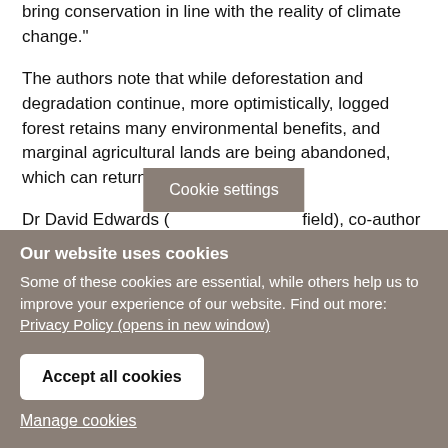bring conservation in line with the reality of climate change."
The authors note that while deforestation and degradation continue, more optimistically, logged forest retains many environmental benefits, and marginal agricultural lands are being abandoned, which can return back to forest.
Dr David Edwards (... field), co-author of
[Figure (screenshot): Cookie settings button overlay partially covering the text]
Our website uses cookies
Some of these cookies are essential, while others help us to improve your experience of our website. Find out more: Privacy Policy (opens in new window)
Accept all cookies
Manage cookies